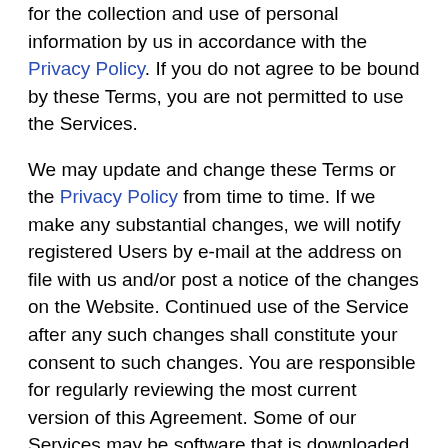for the collection and use of personal information by us in accordance with the Privacy Policy. If you do not agree to be bound by these Terms, you are not permitted to use the Services.
We may update and change these Terms or the Privacy Policy from time to time. If we make any substantial changes, we will notify registered Users by e-mail at the address on file with us and/or post a notice of the changes on the Website. Continued use of the Service after any such changes shall constitute your consent to such changes. You are responsible for regularly reviewing the most current version of this Agreement. Some of our Services may be software that is downloaded to your computer, phone, tablet, or other devices. You agree that we may automatically upgrade those Services, and these Terms will automatically apply to such upgrades.
1. Using Mom.life
1.1 You must be at least 14 years of age to use the Services. As a parent, the services can also be used with...